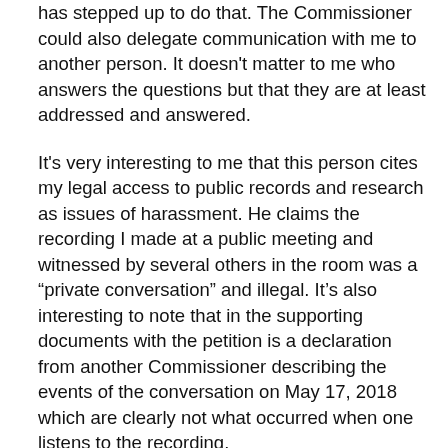has stepped up to do that. The Commissioner could also delegate communication with me to another person. It doesn't matter to me who answers the questions but that they are at least addressed and answered.
It's very interesting to me that this person cites my legal access to public records and research as issues of harassment. He claims the recording I made at a public meeting and witnessed by several others in the room was a “private conversation” and illegal. It’s also interesting to note that in the supporting documents with the petition is a declaration from another Commissioner describing the events of the conversation on May 17, 2018 which are clearly not what occurred when one listens to the recording.
Washington State law allows one to use sound and video recording devices at public meetings unless they disrupt